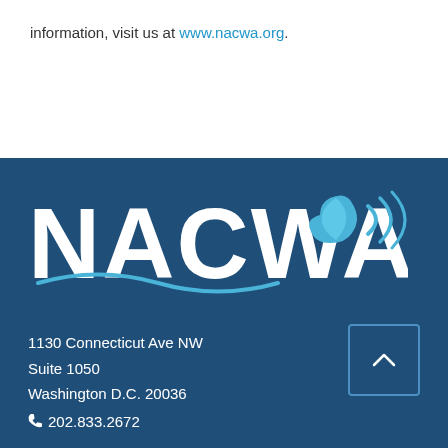information, visit us at www.nacwa.org.
[Figure (logo): NACWA logo with water drop and sound wave icon on dark blue background]
1130 Connecticut Ave NW
Suite 1050
Washington D.C. 20036
202.833.2672